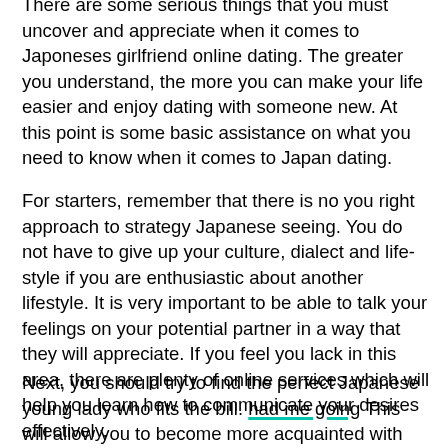There are some serious things that you must uncover and appreciate when it comes to Japoneses girlfriend online dating. The greater you understand, the more you can make your life easier and enjoy dating with someone new. At this point is some basic assistance on what you need to know when it comes to Japan dating.
For starters, remember that there is no you right approach to strategy Japanese seeing. You do not have to give up your culture, dialect and life-style if you are enthusiastic about another lifestyle. It is very important to be able to talk your feelings on your potential partner in a way that they will appreciate. If you feel you lack in this area, there are plenty of online services which will help you learn how to communicate your desires effectively.
Next, you should try to find the perfect Japanese young lady who fits the bill. had me going This will allow you to become more acquainted with the traditions of The